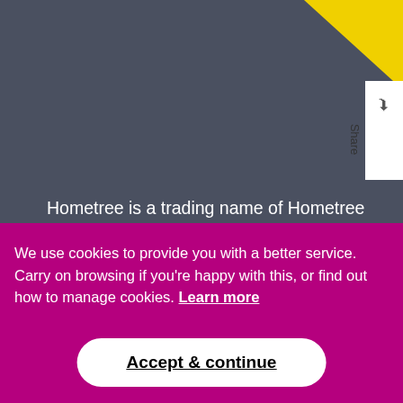Hometree is a trading name of Hometree Marketplace Limited and Hometree Services Limited which are registered at Hamilton House, 4 Mabledon Place, King's Cross, London, WC1H 9BB. Hometree Marketplace Limited has Company Number: 09808066 and VAT Number: 228718977 and is a GasSafe registered company. Hometree Marketplace Ltd (FRN 743711) is authorised and regulated by the Financial Conduct Authority for
We use cookies to provide you with a better service. Carry on browsing if you're happy with this, or find out how to manage cookies. Learn more
Accept & continue